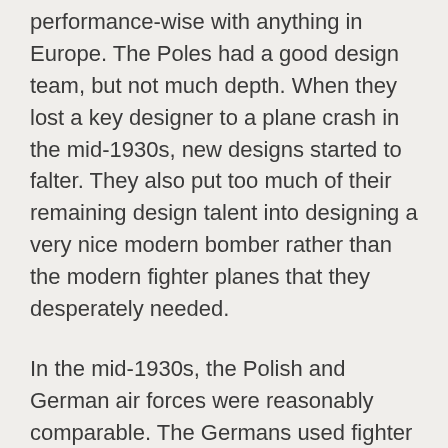performance-wise with anything in Europe. The Poles had a good design team, but not much depth. When they lost a key designer to a plane crash in the mid-1930s, new designs started to falter. They also put too much of their remaining design talent into designing a very nice modern bomber rather than the modern fighter planes that they desperately needed.
In the mid-1930s, the Polish and German air forces were reasonably comparable. The Germans used fighter biplanes while the Poles had high-winged fighter monoplanes with fixed undercarriages. Between 1937 and 1939, Germany reequipped its